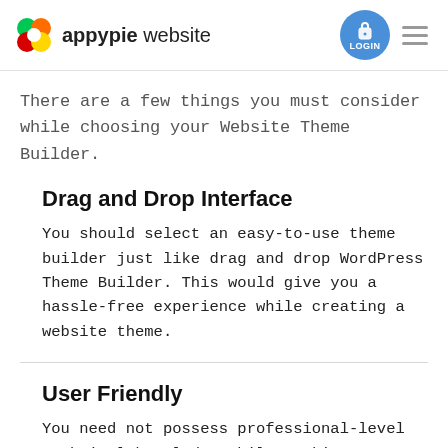appypie website
There are a few things you must consider while choosing your Website Theme Builder.
Drag and Drop Interface
You should select an easy-to-use theme builder just like drag and drop WordPress Theme Builder. This would give you a hassle-free experience while creating a website theme.
User Friendly
You need not possess professional-level technical knowledge while working on a web theme builder like Appy Pie Website Theme Builder. So, make sure